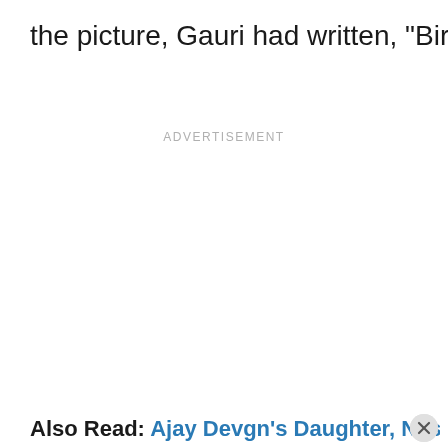the picture, Gauri had written, "Birthday girl".
ADVERTISEMENT
Also Read: Ajay Devgn's Daughter, Nysa Devga